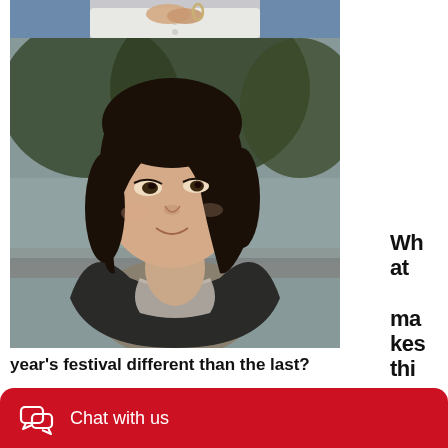[Figure (photo): Top portion of a photo showing a person's torso wearing a white top and denim jacket with hands clasped, bracelet visible]
[Figure (photo): Portrait photo of a young woman with dark shoulder-length hair, wearing a dark cardigan over a light floral top, smiling slightly, with blurred trees and road in background]
What makes this year's festival different than the last?
Chat with us